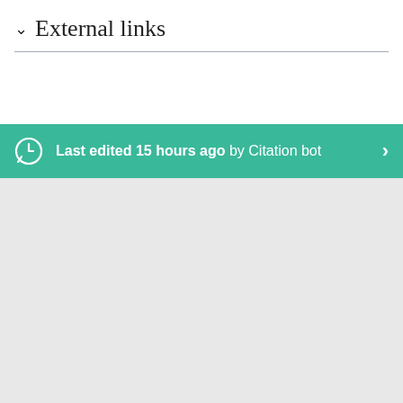External links
Last edited 15 hours ago by Citation bot